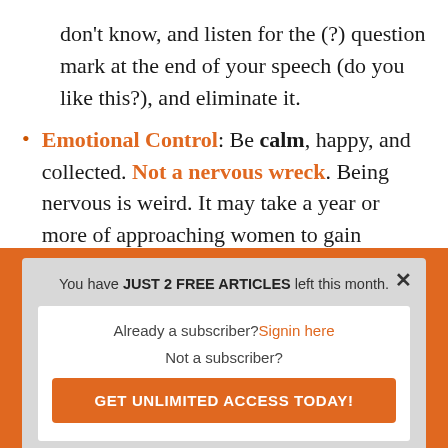don't know, and listen for the (?) question mark at the end of your speech (do you like this?), and eliminate it.
Emotional Control: Be calm, happy, and collected. Not a nervous wreck. Being nervous is weird. It may take a year or more of approaching women to gain
[Figure (screenshot): A subscription modal popup with orange border background. Shows 'You have JUST 2 FREE ARTICLES left this month.' with options to sign in or get unlimited access. Contains 'Already a subscriber? Signin here' link, 'Not a subscriber?' text, and an orange 'GET UNLIMITED ACCESS TODAY!' button. Has a close (x) button in the top right.]